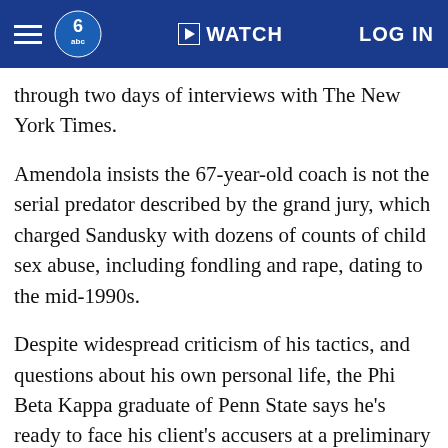WATCH  LOG IN
through two days of interviews with The New York Times.
Amendola insists the 67-year-old coach is not the serial predator described by the grand jury, which charged Sandusky with dozens of counts of child sex abuse, including fondling and rape, dating to the mid-1990s.
Despite widespread criticism of his tactics, and questions about his own personal life, the Phi Beta Kappa graduate of Penn State says he's ready to face his client's accusers at a preliminary hearing Tuesday. About 200 reporters and spectators are expected at the hearing, when a judge will decide if there's enough evidence to hold the case for trial.
"I do have a strategy. There is a method to my madness," Amendola, 63, told The Associated Press on Saturday. "This